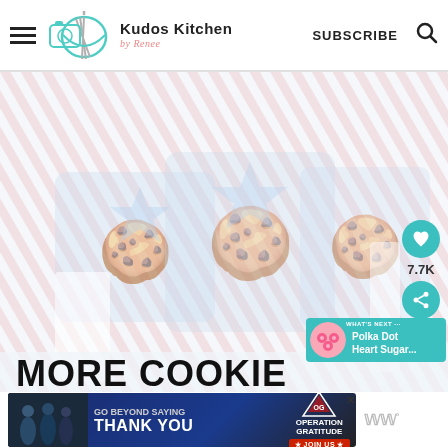Kudos Kitchen by Renee — SUBSCRIBE
[Figure (photo): Faded/washed-out photo of American flag-themed decorated sugar cookies on a white background]
7.7K
[Figure (photo): What's Next thumbnail showing pink polka dot heart sugar cookies]
WHAT'S NEXT — Polka Dot Heart Sugar...
MORE COOKIE
[Figure (photo): Advertisement banner: GO BEYOND SAYING THANK YOU — Operation Gratitude JOIN US]
ww°